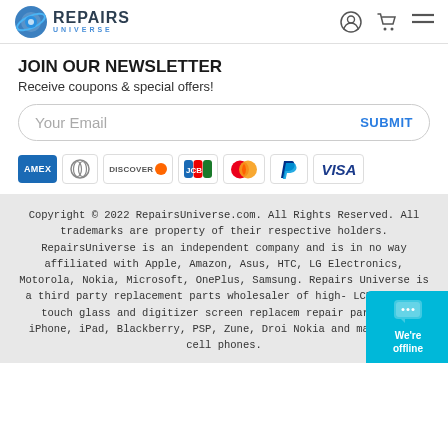Repairs Universe
JOIN OUR NEWSLETTER
Receive coupons & special offers!
Your Email  SUBMIT
[Figure (other): Payment method icons: AMEX, Diners Club, Discover, JCB, Mastercard, PayPal, Visa]
Copyright © 2022 RepairsUniverse.com. All Rights Reserved. All trademarks are property of their respective holders. RepairsUniverse is an independent company and is in no way affiliated with Apple, Amazon, Asus, HTC, LG Electronics, Motorola, Nokia, Microsoft, OnePlus, Samsung. Repairs Universe is a third party replacement parts wholesaler of high- LCD screen, touch glass and digitizer screen replacem repair parts for iPhone, iPad, Blackberry, PSP, Zune, Droi Nokia and many other cell phones.